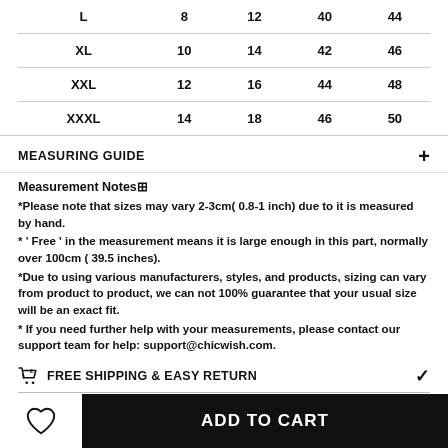| L | 8 | 12 | 40 | 44 |
| XL | 10 | 14 | 42 | 46 |
| XXL | 12 | 16 | 44 | 48 |
| XXXL | 14 | 18 | 46 | 50 |
MEASURING GUIDE
Measurement Notes⊞
*Please note that sizes may vary 2-3cm( 0.8-1 inch) due to it is measured by hand.
* ‘ Free ’ in the measurement means it is large enough in this part, normally over 100cm ( 39.5 inches).
*Due to using various manufacturers, styles, and products, sizing can vary from product to product, we can not 100% guarantee that your usual size will be an exact fit.
* If you need further help with your measurements, please contact our support team for help: support@chicwish.com.
FREE SHIPPING & EASY RETURN
◆ You could return your order for refund or exchange within 30 calendar days from the date you receive your order. Return labels are provided for US, UK, Germany and some